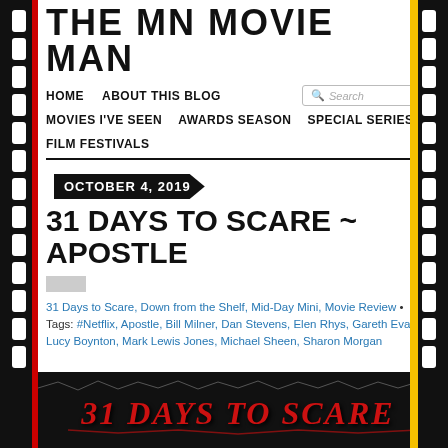THE MN MOVIE MAN
HOME   ABOUT THIS BLOG   Search
MOVIES I'VE SEEN   AWARDS SEASON   SPECIAL SERIES
FILM FESTIVALS
OCTOBER 4, 2019
31 DAYS TO SCARE ~ APOSTLE
31 Days to Scare, Down from the Shelf, Mid-Day Mini, Movie Review • Tags: #Netflix, Apostle, Bill Milner, Dan Stevens, Elen Rhys, Gareth Evans, Lucy Boynton, Mark Lewis Jones, Michael Sheen, Sharon Morgan
[Figure (illustration): 31 Days to Scare horror-style logo banner in red distressed text on dark background at bottom of page]